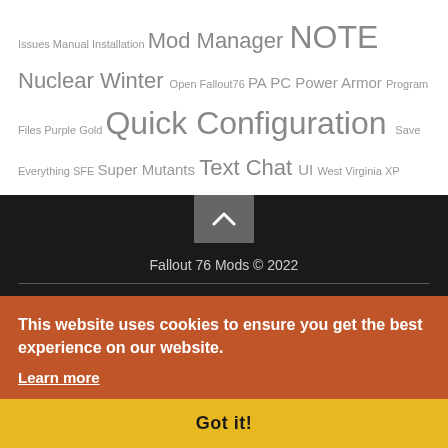Issues Manual Installation Mod Manager NOTE Nuclear Winter Open Fallout76 PA PC Power Armor Program Files Purple Gold Quick Configuration Save Everything SFE Super Mutants Text Chat UI West Virginia XP
Fallout 76 Mods © 2022
FF13 Mods | Farming Simulator 20 Mods | Minecraft Bes Mods | Stardew Silo | Palma Mods | Farming Simulator 22 Mods | World Mods | Stardew Valley Mods | ... | Grand Theft Auto Mods | Game PC Trainers | ... | Cities Skylines Mods | Cyberpunk 2077 Mods | Microsoft Flight Simulator 2020 Mods | Mods Fallout 4 | Bus watch Dogs Legion Mods |
This website uses cookies to ensure you get the best experience on our website.
Learn more
Got it!